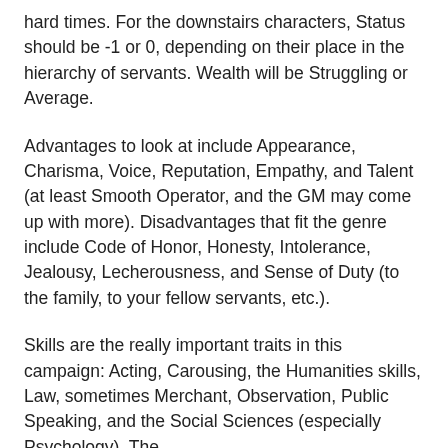hard times. For the downstairs characters, Status should be -1 or 0, depending on their place in the hierarchy of servants. Wealth will be Struggling or Average.
Advantages to look at include Appearance, Charisma, Voice, Reputation, Empathy, and Talent (at least Smooth Operator, and the GM may come up with more). Disadvantages that fit the genre include Code of Honor, Honesty, Intolerance, Jealousy, Lecherousness, and Sense of Duty (to the family, to your fellow servants, etc.).
Skills are the really important traits in this campaign: Acting, Carousing, the Humanities skills, Law, sometimes Merchant, Observation, Public Speaking, and the Social Sciences (especially Psychology). The